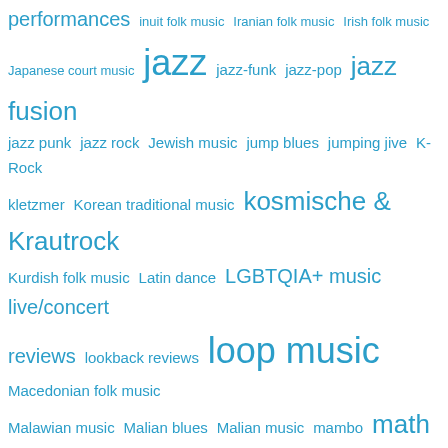[Figure (other): Tag cloud of music genres and categories in blue text, with varying font sizes indicating frequency/popularity. Terms include: performances, inuit folk music, Iranian folk music, Irish folk music, Japanese court music, jazz, jazz-funk, jazz-pop, jazz fusion, jazz punk, jazz rock, Jewish music, jump blues, jumping jive, K-Rock, kletzmer, Korean traditional music, kosmische & Krautrock, Kurdish folk music, Latin dance, LGBTQIA+ music, live/concert reviews, lookback reviews, loop music, Macedonian folk music, Malawian music, Malian blues, Malian music, mambo, math rock, mbalax, merengue, metalcore, Mexican folk, Middle Eastern music, minimalism, modal jazz, Mongolian folk music, motets, mumblecore, music downloads for free/cheap/pay-what-you-like, music drama, musique concrete, neo-soul, neoclassical darkwave, New Music, New Orleans jazz, New Wave rock, noise, noise rock, North African music, Norwegian music, No Wave, obituaries, opera, oratorios, orchestral jazz, orchestral music, orchestral pop, outsider music, pansori, performance art, plunderphonics, poetry, Polish folk music, political music, polyphonic singing, pop]